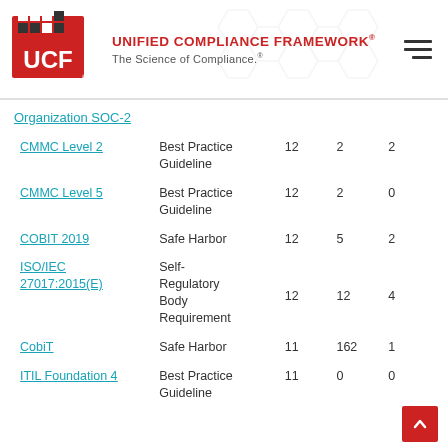UNIFIED COMPLIANCE FRAMEWORK® — The Science of Compliance.®
Organization SOC-2
| Authority | Type | Col3 | Col4 | Col5 |
| --- | --- | --- | --- | --- |
| CMMC Level 2 | Best Practice Guideline | 12 | 2 | 2 |
| CMMC Level 5 | Best Practice Guideline | 12 | 2 | 0 |
| COBIT 2019 | Safe Harbor | 12 | 5 | 2 |
| ISO/IEC 27017:2015(E) | Self-Regulatory Body Requirement | 12 | 12 | 4 |
| CobiT | Safe Harbor | 11 | 162 | 1 |
| ITIL Foundation 4 | Best Practice Guideline | 11 | 0 | 0 |